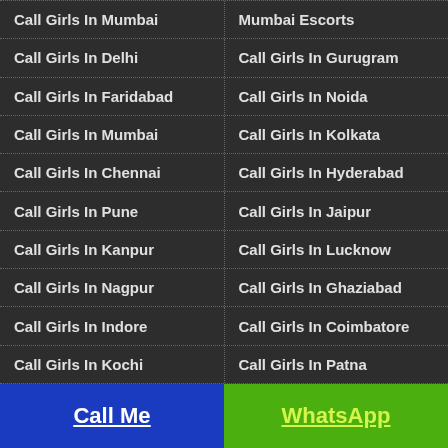Call Girls In Mumbai
Mumbai Escorts
Call Girls In Delhi
Call Girls In Gurugram
Call Girls In Faridabad
Call Girls In Noida
Call Girls In Mumbai
Call Girls In Kolkata
Call Girls In Chennai
Call Girls In Hyderabad
Call Girls In Pune
Call Girls In Jaipur
Call Girls In Kanpur
Call Girls In Lucknow
Call Girls In Nagpur
Call Girls In Ghaziabad
Call Girls In Indore
Call Girls In Coimbatore
Call Girls In Kochi
Call Girls In Patna
Call Me
WhatsApp